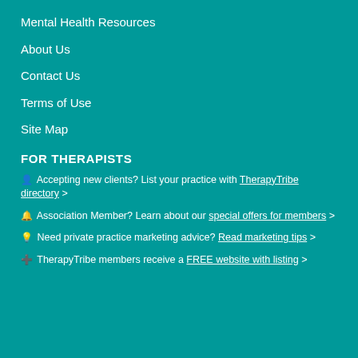Mental Health Resources
About Us
Contact Us
Terms of Use
Site Map
FOR THERAPISTS
👤 Accepting new clients? List your practice with TherapyTribe directory >
🔔 Association Member? Learn about our special offers for members >
💡 Need private practice marketing advice? Read marketing tips >
➕ TherapyTribe members receive a FREE website with listing >